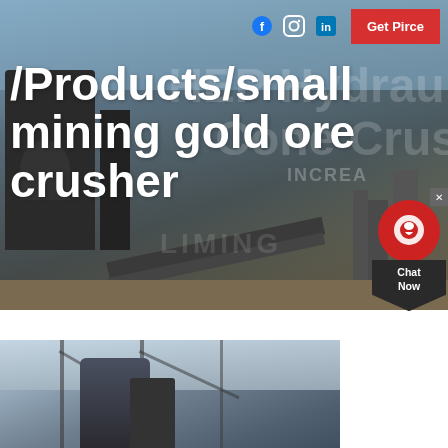[Figure (photo): Industrial mining/crushing plant machinery with conveyor belts and equipment photographed outdoors against a light blue sky. Background watermark text reads 'HEP Hydraulic Cone Crusher INCREASE'. LIMING logo visible.]
Social media icons (Facebook, Instagram, LinkedIn) and Get Price button
/Products/small mining gold ore crusher
[Figure (photo): Interior photo of a large industrial building/warehouse showing machinery and structural steel framework with skylights]